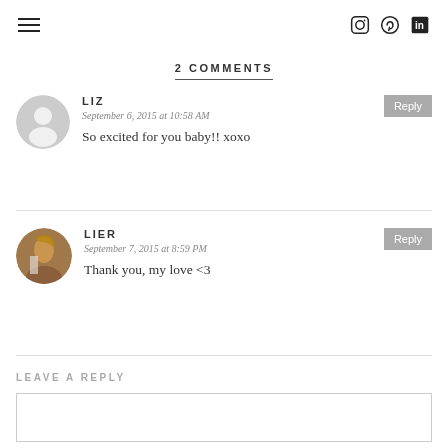≡  [Instagram] [Pinterest] [LinkedIn]
2 COMMENTS
LIZ
September 6, 2015 at 10:58 AM
So excited for you baby!! xoxo
LIER
September 7, 2015 at 8:59 PM
Thank you, my love <3
LEAVE A REPLY